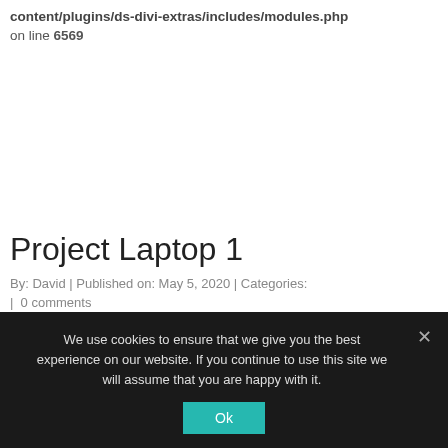content/plugins/ds-divi-extras/includes/modules.php on line 6569
Project Laptop 1
By: David | Published on: May 5, 2020 | Categories:
| 0 comments
We use cookies to ensure that we give you the best experience on our website. If you continue to use this site we will assume that you are happy with it.
Ok